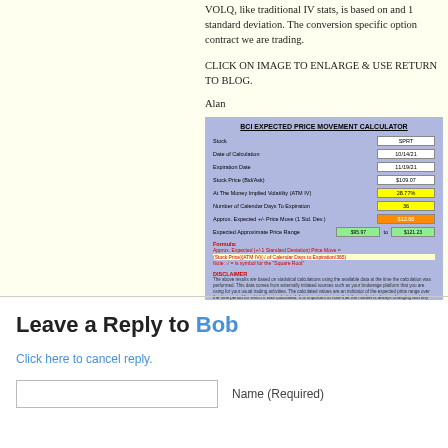VOLQ, like traditional IV stats, is based on and 1 standard deviation. The conversion specific option contract we are trading.
CLICK ON IMAGE TO ENLARGE & USE RETURN TO BLOG.
Alan
[Figure (screenshot): BCI Expected Price Movement Calculator showing fields: Stock (SPRT), Date of Calculation (10/14/21), Expiration Date (11/19/21), Stock Price (Bid/Ask) ($109.07), At The Money Implied Volatility ATM IV (28.77%), Number of Calendar Days To Expiration (36), Approx. Expected +/- Price Move (1 Std. Dev.) ($13.88), Expected Approximate Price Range ($95.97 to $121.23). Includes formula and disclaimer sections.]
Leave a Reply to Bob
Click here to cancel reply.
Name (Required)